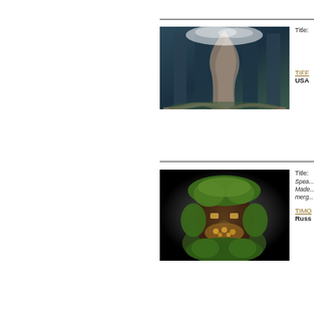[Figure (photo): Dark atmospheric photo of large tree roots and trunk against stone columns with white leaves/sparks at top]
Title:
TIFF
USA
[Figure (photo): Photo of a face-shaped figure made entirely of green moss and foliage against a dark background]
Title: Spea... Made... merg...
TIMO
Russ